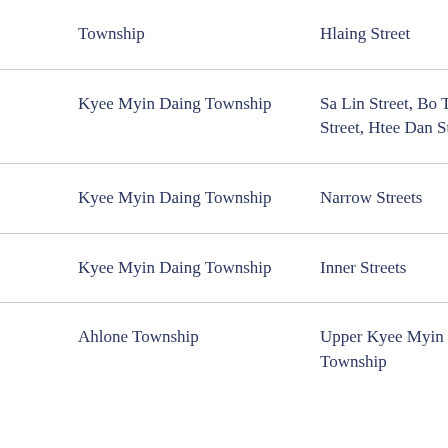| Township | Street/Area | Amount |
| --- | --- | --- |
| Township | Hlaing Street | 60,000 |
| Kyee Myin Daing Township | Sa Lin Street, Bo Thura Street, Htee Dan Street | 60,000 |
| Kyee Myin Daing Township | Narrow Streets | 45,000 |
| Kyee Myin Daing Township | Inner Streets | 45,000 |
| Ahlone Township | Upper Kyee Myin Daing Township | 225,00 |